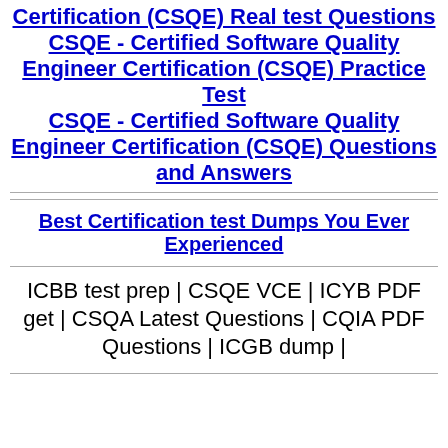CSQE - Certified Software Quality Engineer Certification (CSQE) Real test Questions
CSQE - Certified Software Quality Engineer Certification (CSQE) Practice Test
CSQE - Certified Software Quality Engineer Certification (CSQE) Questions and Answers
Best Certification test Dumps You Ever Experienced
ICBB test prep | CSQE VCE | ICYB PDF get | CSQA Latest Questions | CQIA PDF Questions | ICGB dump |